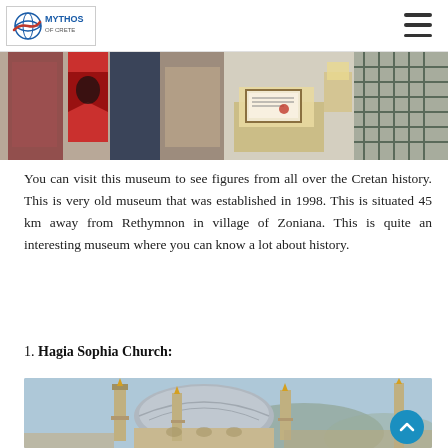Mythos of Crete logo and navigation
[Figure (photo): Museum interior showing historical artifacts, flags, banners and display cases with documents]
You can visit this museum to see figures from all over the Cretan history. This is very old museum that was established in 1998. This is situated 45 km away from Rethymnon in village of Zoniana. This is quite an interesting museum where you can know a lot about history.
1. Hagia Sophia Church:
[Figure (photo): Hagia Sophia church with minarets against a blue sky with cityscape in background]